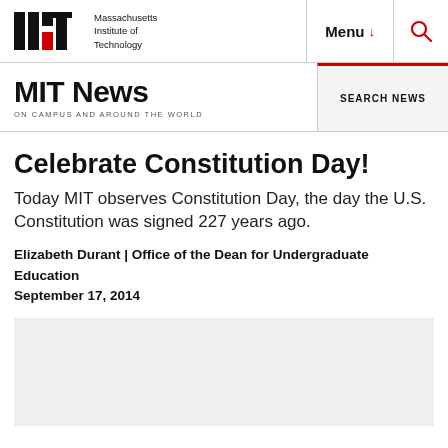[Figure (logo): MIT logo with text 'Massachusetts Institute of Technology']
Menu ↓  🔍
MIT News ON CAMPUS AND AROUND THE WORLD | SEARCH NEWS
Celebrate Constitution Day!
Today MIT observes Constitution Day, the day the U.S. Constitution was signed 227 years ago.
Elizabeth Durant | Office of the Dean for Undergraduate Education
September 17, 2014
[Figure (photo): Gray image placeholder area]